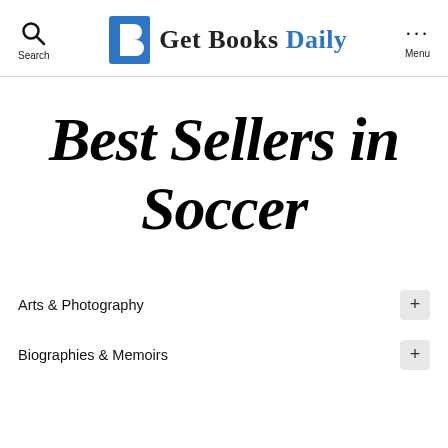Get Books Daily
Best Sellers in Soccer
Arts & Photography
Biographies & Memoirs